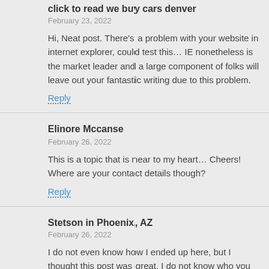click to read we buy cars denver
February 23, 2022
Hi, Neat post. There’s a problem with your website in internet explorer, could test this… IE nonetheless is the market leader and a large component of folks will leave out your fantastic writing due to this problem.
Reply
Elinore Mccanse
February 26, 2022
This is a topic that is near to my heart… Cheers! Where are your contact details though?
Reply
Stetson in Phoenix, AZ
February 26, 2022
I do not even know how I ended up here, but I thought this post was great. I do not know who you are but definitely you are going to a famous blogger